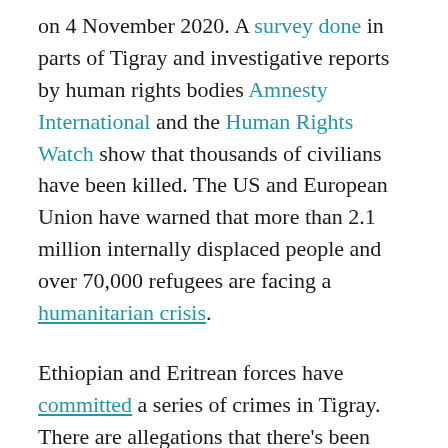on 4 November 2020. A survey done in parts of Tigray and investigative reports by human rights bodies Amnesty International and the Human Rights Watch show that thousands of civilians have been killed. The US and European Union have warned that more than 2.1 million internally displaced people and over 70,000 refugees are facing a humanitarian crisis.
Ethiopian and Eritrean forces have committed a series of crimes in Tigray. There are allegations that there's been destruction and looting of available food